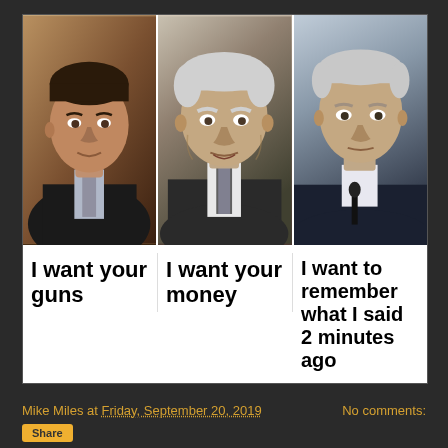[Figure (photo): Meme image with three panels showing photos of political figures (Beto O'Rourke, Bernie Sanders, Joe Biden) each with a caption below: 'I want your guns', 'I want your money', 'I want to remember what I said 2 minutes ago']
Mike Miles at Friday, September 20, 2019   No comments:
Share